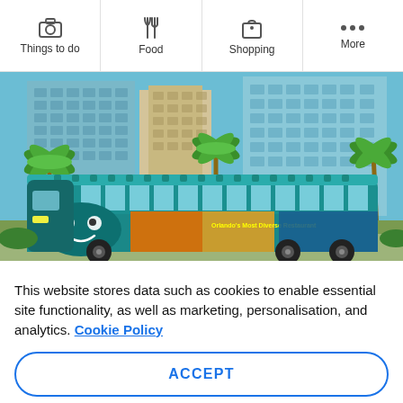Things to do | Food | Shopping | More
[Figure (photo): A teal/green decorated trolley bus with colorful wraps reading 'Orlando's Most Diverse Restaurant' parked in front of tall glass office buildings with palm trees]
This website stores data such as cookies to enable essential site functionality, as well as marketing, personalisation, and analytics. Cookie Policy
ACCEPT